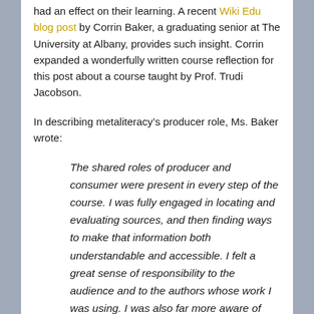had an effect on their learning. A recent Wiki Edu blog post by Corrin Baker, a graduating senior at The University at Albany, provides such insight. Corrin expanded a wonderfully written course reflection for this post about a course taught by Prof. Trudi Jacobson.
In describing metaliteracy’s producer role, Ms. Baker wrote:
The shared roles of producer and consumer were present in every step of the course. I was fully engaged in locating and evaluating sources, and then finding ways to make that information both understandable and accessible. I felt a great sense of responsibility to the audience and to the authors whose work I was using. I was also far more aware of diversity in a global audience, especially as I found myself struggling to find non-male authors to cite.
The course, which lasts just seven weeks, is challenging for students, but aims to have a lasting effect on their